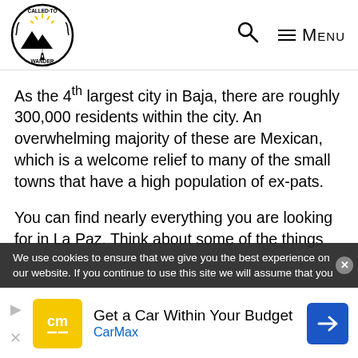Called to Wander — Search — Menu
As the 4th largest city in Baja, there are roughly 300,000 residents within the city. An overwhelming majority of these are Mexican, which is a welcome relief to many of the small towns that have a high population of ex-pats.
You can find nearly everything you are looking for in La Paz. Think about some of the things
We use cookies to ensure that we give you the best experience on our website. If you continue to use this site we will assume that you
Get a Car Within Your Budget
CarMax